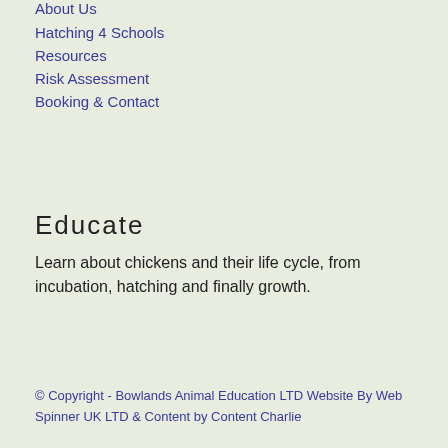About Us
Hatching 4 Schools
Resources
Risk Assessment
Booking & Contact
Educate
Learn about chickens and their life cycle, from incubation, hatching and finally growth.
© Copyright - Bowlands Animal Education LTD Website By Web Spinner UK LTD & Content by Content Charlie